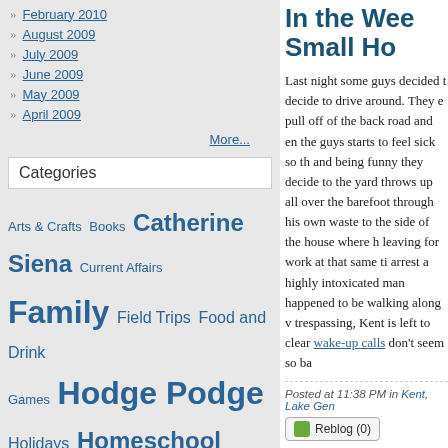February 2010
August 2009
July 2009
June 2009
May 2009
April 2009
More...
Categories
Arts & Crafts  Books  Catherine Siena  Current Affairs  Family  Field Trips  Food and Drink  Games  Hodge Podge  Holidays  Homeschool  Humor  Inspirational  James  John  Kent  Lake Geneva  Matthew  Megan  Memes  Michael  Milwaukee  Movies  Music  Nature  Out of the Mouths of Boys!  Religion
In the Wee Small Ho
Last night some guys decided to decide to drive around. They e pull off of the back road and en the guys starts to feel sick so th and being funny they decide to the yard throws up all over the barefoot through his own waste to the side of the house where h leaving for work at that same ti arrest a highly intoxicated man happened to be walking along v trespassing, Kent is left to clear wake-up calls don't seem so ba
Posted at 11:38 PM in Kent, Lake Gen
Reblog (0)
Some Free Advice